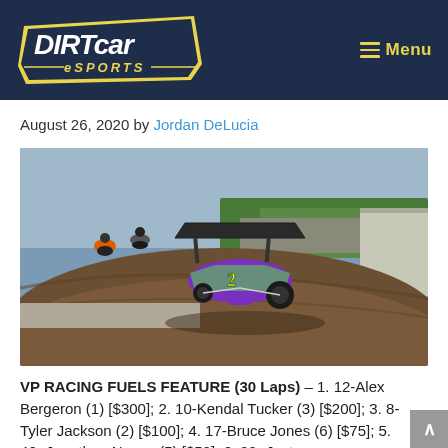DIRTcar eSPORTS — Menu
August 26, 2020 by Jordan DeLucia
[Figure (photo): Screenshot from a dirt track racing video game showing sprint cars racing on a banked oval dirt track. A purple and green sprint car with number 2 is prominently featured in the foreground taking a high-banked corner, with two other riders (appearing to be on motocross bikes) visible in the background upper left. The track has concrete walls and the scene shows trees and sky in the distance.]
VP RACING FUELS FEATURE (30 Laps) – 1. 12-Alex Bergeron (1) [$300]; 2. 10-Kendal Tucker (3) [$200]; 3. 8-Tyler Jackson (2) [$100]; 4. 17-Bruce Jones (6) [$75]; 5. 46- Jonathan Nause (5) [$50]; 6. 99- Jayton